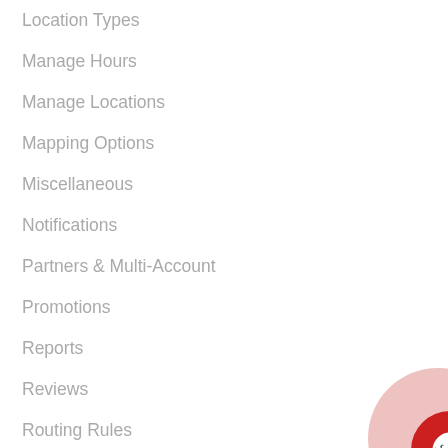Location Types
Manage Hours
Manage Locations
Mapping Options
Miscellaneous
Notifications
Partners & Multi-Account
Promotions
Reports
Reviews
Routing Rules
SAML
Search Rules
Security